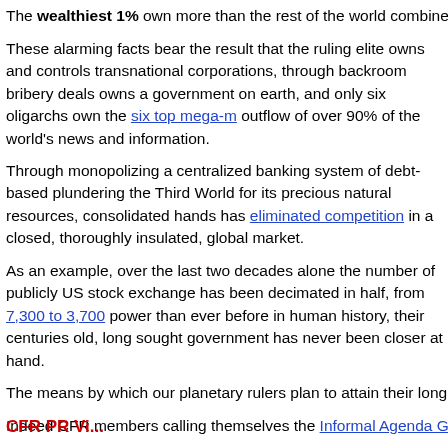The wealthiest 1% own more than the rest of the world combined and the rich and poor is widening at the fastest rate seen since the 19th
These alarming facts bear the result that the ruling elite owns and controls transnational corporations, through backroom bribery deals owns a government on earth, and only six oligarchs own the six top mega-media outflow of over 90% of the world's news and information.
Through monopolizing a centralized banking system of debt-based plundering the Third World for its precious natural resources, consolidated hands has eliminated competition in a closed, thoroughly insulated, global market.
As an example, over the last two decades alone the number of publicly US stock exchange has been decimated in half, from 7,300 to 3,700 power than ever before in human history, their centuries old, long sought government has never been closer at hand.
The means by which our planetary rulers plan to attain their long prized Rockefeller-Rothschild created entities as the Council on Foreign R
Indeed CFR members calling themselves the Informal Agenda Group signed the next day establishing the UN as a world governance pre
CFR PR Vi...